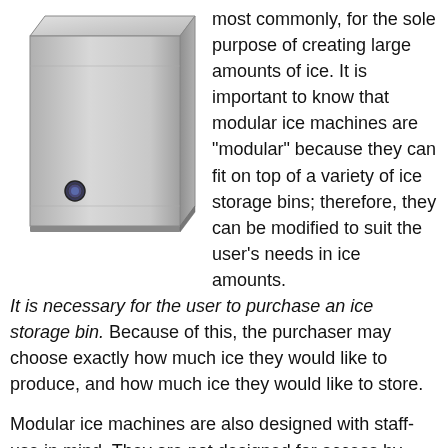[Figure (photo): A stainless steel modular ice machine unit, box-shaped with a small circular button or indicator on the front lower-left area.]
most commonly, for the sole purpose of creating large amounts of ice. It is important to know that modular ice machines are "modular" because they can fit on top of a variety of ice storage bins; therefore, they can be modified to suit the user's needs in ice amounts. It is necessary for the user to purchase an ice storage bin. Because of this, the purchaser may choose exactly how much ice they would like to produce, and how much ice they would like to store.
Modular ice machines are also designed with staff-use in mind. They are not designed for access by customers or the general public because reaching into a storage bin presents a potential point of contamination. Staff access the storage bin in a kitchen or behind a counter which is